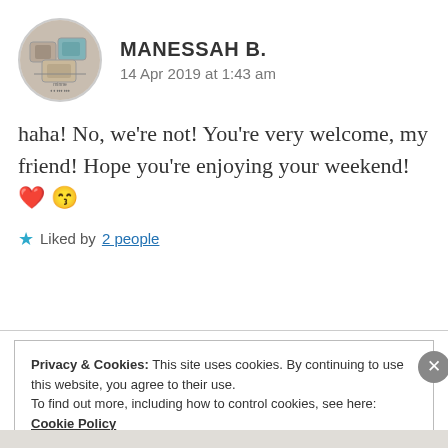[Figure (photo): Circular avatar image showing decorative cushions/pillows with text 'Minnie' below]
MANESSAH B.
14 Apr 2019 at 1:43 am
haha! No, we're not! You're very welcome, my friend! Hope you're enjoying your weekend! ❤️ 😊
★ Liked by 2 people
Privacy & Cookies: This site uses cookies. By continuing to use this website, you agree to their use.
To find out more, including how to control cookies, see here: Cookie Policy
Close and accept